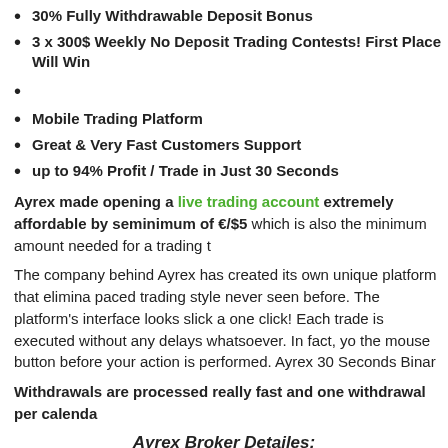30% Fully Withdrawable Deposit Bonus
3 x 300$ Weekly No Deposit Trading Contests! First Place Will Win
Mobile Trading Platform
Great & Very Fast Customers Support
up to 94% Profit / Trade in Just 30 Seconds
Ayrex made opening a live trading account extremely affordable by se... minimum of €/$5 which is also the minimum amount needed for a trading t...
The company behind Ayrex has created its own unique platform that elimina... paced trading style never seen before. The platform's interface looks slick a... one click! Each trade is executed without any delays whatsoever. In fact, yo... the mouse button before your action is performed. Ayrex 30 Seconds Binar...
Withdrawals are processed really fast and one withdrawal per calenda...
Ayrex Broker Detailes:
Company Headquarters: Advanced Binary Technologies Ltd, R...